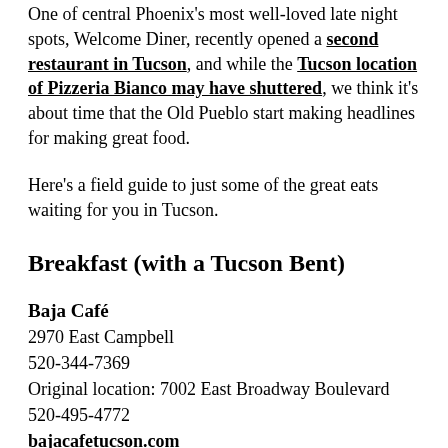One of central Phoenix's most well-loved late night spots, Welcome Diner, recently opened a second restaurant in Tucson, and while the Tucson location of Pizzeria Bianco may have shuttered, we think it's about time that the Old Pueblo start making headlines for making great food.
Here's a field guide to just some of the great eats waiting for you in Tucson.
Breakfast (with a Tucson Bent)
Baja Café
2970 East Campbell
520-344-7369
Original location: 7002 East Broadway Boulevard
520-495-4772
bajacafetucson.com
The new Campbell Corridor location of Baja Café is a